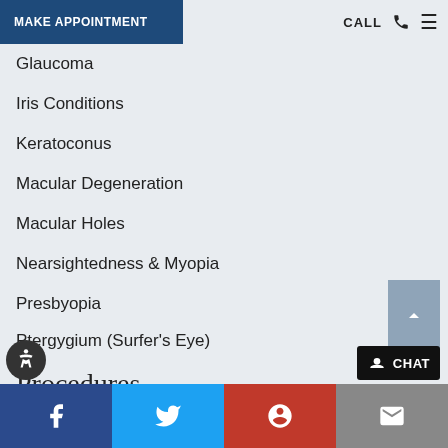MAKE APPOINTMENT   CALL ☎ ≡
Glaucoma
Iris Conditions
Keratoconus
Macular Degeneration
Macular Holes
Nearsightedness & Myopia
Presbyopia
Ptergygium (Surfer's Eye)
Procedures
Artificial Iris Implant
ASEDs (autologous serum eye drops for dry eye)